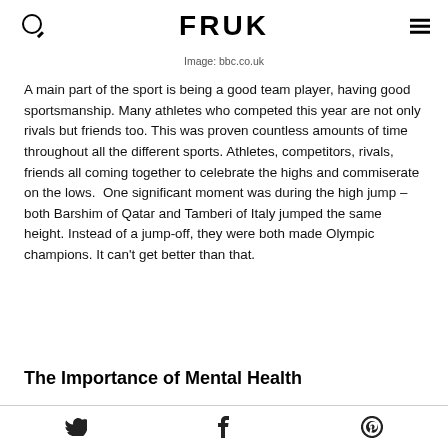FRUK
Image: bbc.co.uk
A main part of the sport is being a good team player, having good sportsmanship. Many athletes who competed this year are not only rivals but friends too. This was proven countless amounts of time throughout all the different sports. Athletes, competitors, rivals, friends all coming together to celebrate the highs and commiserate on the lows.  One significant moment was during the high jump – both Barshim of Qatar and Tamberi of Italy jumped the same height. Instead of a jump-off, they were both made Olympic champions. It can't get better than that.
The Importance of Mental Health
Social media icons: Twitter, Facebook, Pinterest